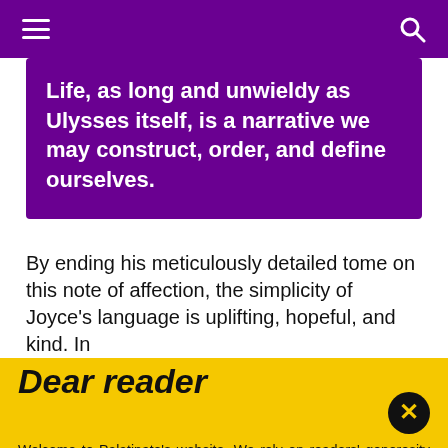Navigation header with hamburger menu and search icon
Life, as long and unwieldy as Ulysses itself, is a narrative we may construct, order, and define ourselves.
By ending his meticulously detailed tome on this note of affection, the simplicity of Joyce’s language is uplifting, hopeful, and kind. In
Dear reader
Welcome to Palatinate's website. We rely on readers' generosity to keep producing award-winning journalism and provide media training opportunities to our team of more than 150 students. Palatinate has produced some of the biggest names in British media, from Jeremy Vine to the late great Sir Harold Evans. Every contribution to Palatinate is an investment into the future of journalism.
Donate